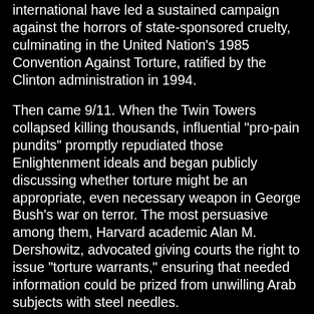international have led a sustained campaign against the horrors of state-sponsored cruelty, culminating in the United Nation's 1985 Convention Against Torture, ratified by the Clinton administration in 1994.
Then came 9/11. When the Twin Towers collapsed killing thousands, influential "pro-pain pundits" promptly repudiated those Enlightenment ideals and began publicly discussing whether torture might be an appropriate, even necessary weapon in George Bush's war on terror. The most persuasive among them, Harvard academic Alan M. Dershowitz, advocated giving courts the right to issue "torture warrants," ensuring that needed information could be prized from unwilling Arab subjects with steel needles.
Despite torture's appeal as a "lesser evil," a necessary expedient in dangerous times, those who favor it ignore its recent, problematic history in America. They also seem ignorant of a perverse pathology that allows the practice of torture, once begun, to spread uncontrollably in crisis situations, destroying the legitimacy of the perpetrator nation. As past perpetrators could have told today's pundits, torture plumbs the recesses of human consciousness, unleashing an unfathomable capacity for cruelty as well as seductive illusions of potency. Even as pundits and